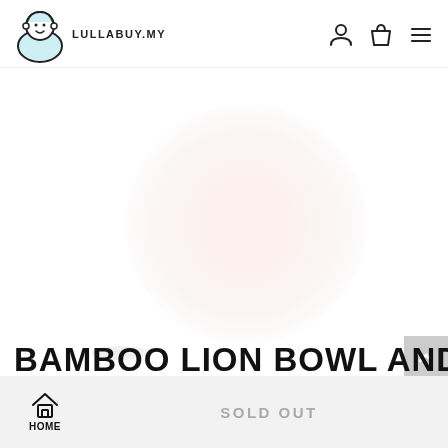LULLABUY.MY
[Figure (photo): White/light background product page with a faint pinkish circular glow, suggesting a product image area. Small oval shadow at bottom left. This appears to be a screenshot of an e-commerce product page with the product image mostly white/faded.]
BAMBOO LION BOWL AND
HOME   SOLD OUT